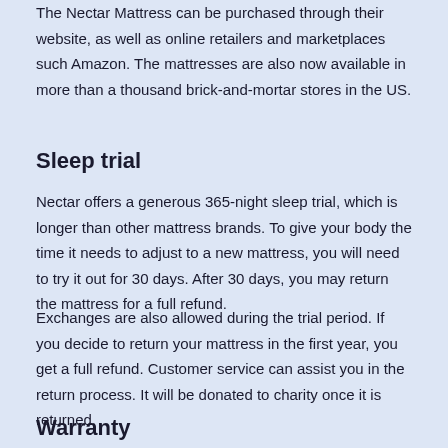The Nectar Mattress can be purchased through their website, as well as online retailers and marketplaces such Amazon. The mattresses are also now available in more than a thousand brick-and-mortar stores in the US.
Sleep trial
Nectar offers a generous 365-night sleep trial, which is longer than other mattress brands. To give your body the time it needs to adjust to a new mattress, you will need to try it out for 30 days. After 30 days, you may return the mattress for a full refund.
Exchanges are also allowed during the trial period. If you decide to return your mattress in the first year, you get a full refund. Customer service can assist you in the return process. It will be donated to charity once it is returned.
Warranty